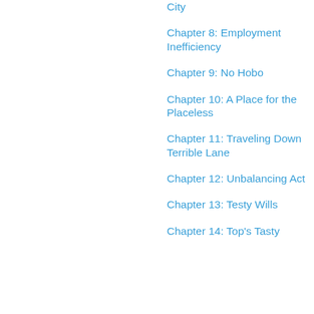City
Chapter 8: Employment Inefficiency
Chapter 9: No Hobo
Chapter 10: A Place for the Placeless
Chapter 11: Traveling Down Terrible Lane
Chapter 12: Unbalancing Act
Chapter 13: Testy Wills
Chapter 14: Top's Tasty